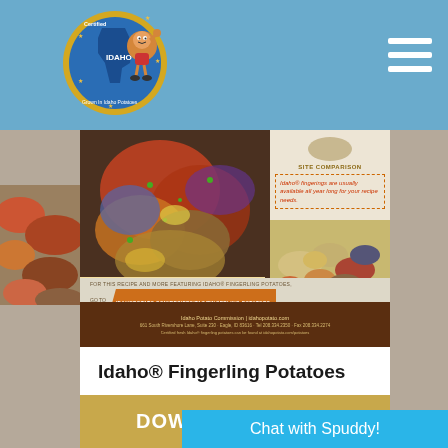Certified Seed Idaho — Idaho Potato Commission website header
[Figure (screenshot): Screenshot of idahopotato.com page showing Idaho Fingerling Potatoes brochure/document with food photography of crispy lemon & herb Idaho fingerling potatoes, a site comparison box, potato photo, recipe banner, and URL to idahopotato.com/recipes/tag/fingerling-potatoes]
Idaho® Fingerling Potatoes
DOWNLOAD A PDF
Chat with Spuddy!